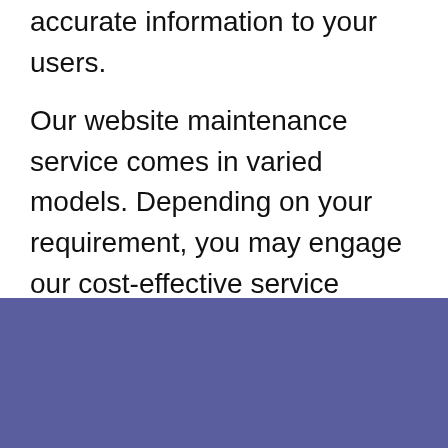accurate information to your users.
Our website maintenance service comes in varied models. Depending on your requirement, you may engage our cost-effective service through an Annual Maintenance Contract (AMC) for a regular check-up of your website and prompt fix. We can also offer an on-demand maintenance support as and when required.